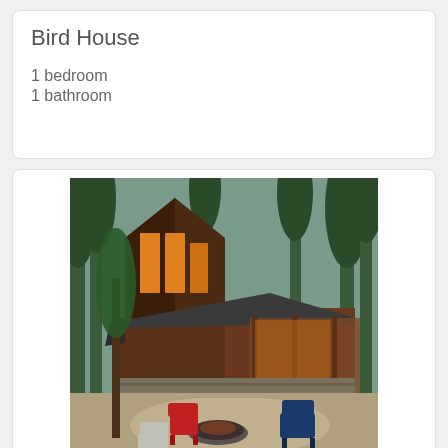Bird House
1 bedroom
1 bathroom
[Figure (photo): Exterior photo of a rustic wooden cabin at dusk, surrounded by pine trees, with a fire pit and Adirondack chairs in the foreground]
Sold